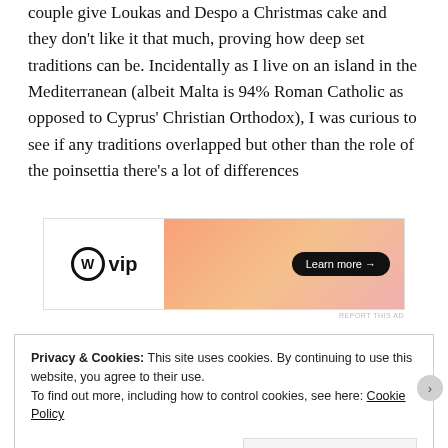couple give Loukas and Despo a Christmas cake and they don't like it that much, proving how deep set traditions can be. Incidentally as I live on an island in the Mediterranean (albeit Malta is 94% Roman Catholic as opposed to Cyprus' Christian Orthodox), I was curious to see if any traditions overlapped but other than the role of the poinsettia there's a lot of differences
[Figure (other): WordPress VIP advertisement banner with gradient orange/pink background and 'Learn more' button]
REPORT THIS AD
Privacy & Cookies: This site uses cookies. By continuing to use this website, you agree to their use.
To find out more, including how to control cookies, see here: Cookie Policy
Close and accept